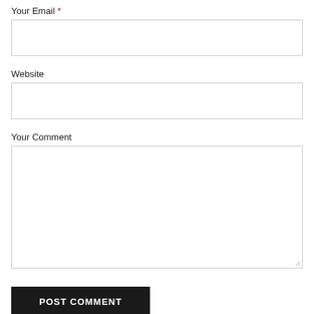Your Email *
[Figure (screenshot): Empty text input box for email field]
Website
[Figure (screenshot): Empty text input box for website field]
Your Comment
[Figure (screenshot): Empty textarea for comment field with resize handle]
POST COMMENT